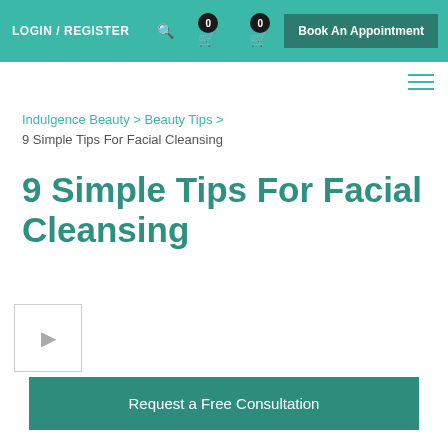LOGIN / REGISTER
Indulgence Beauty > Beauty Tips >
9 Simple Tips For Facial Cleansing
9 Simple Tips For Facial Cleansing
[Figure (other): Small thumbnail image placeholder box with arrow icon]
Request a Free Consultation